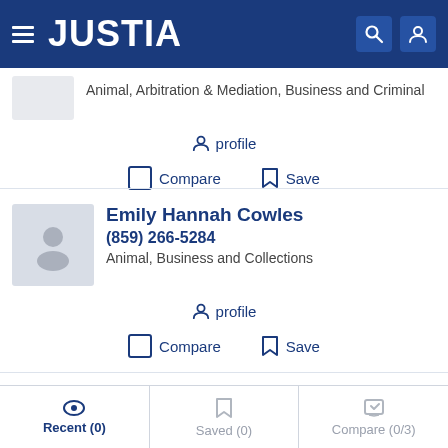[Figure (screenshot): Justia website header with hamburger menu, JUSTIA logo in white on dark blue background, search and user icons]
Animal, Arbitration & Mediation, Business and Criminal
profile
Compare  Save
Emily Hannah Cowles
(859) 266-5284
Animal, Business and Collections
profile
Compare  Save
Recent (0)  Saved (0)  Compare (0/3)